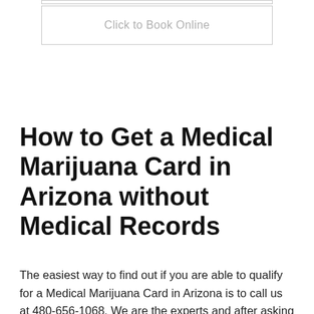[Figure (other): A rectangular button/box outline at the top with light gray text reading 'Click to Book Online']
How to Get a Medical Marijuana Card in Arizona without Medical Records
The easiest way to find out if you are able to qualify for a Medical Marijuana Card in Arizona is to call us at 480-656-1068. We are the experts and after asking you a few questions, we usually have a good idea of if you will be able to qualify or not.